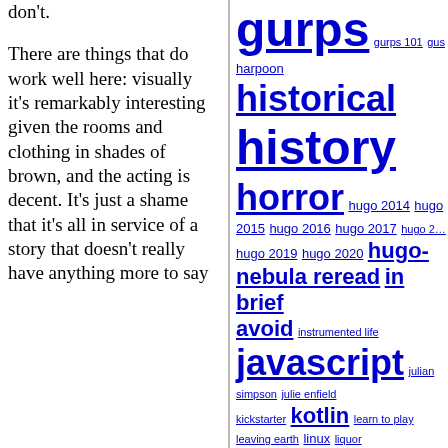don't.
There are things that do work well here: visually it's remarkably interesting given the rooms and clothing in shades of brown, and the acting is decent. It's just a shame that it's all in service of a story that doesn't really have anything more to say
[Figure (infographic): Tag cloud with programming, reading, gaming, and miscellaneous blog tags in varying font sizes, all in blue/navy color. Tags include: gurps, gurps 101, gus, harpoon, historical, history, horror, hugo 2014, hugo 2015, hugo 2016, hugo 2017, hugo 2019, hugo 2020, hugo-nebula reread, in brief, avoid, instrumented life, javascript, julian simpson, julie enfield, kickstarter, kotlin, learn to play, leaving earth, linux, liquor, lovecraftiana, lua, mecha, men with beards, museum, music, mystery, naval, noir, non-fiction, one for the brow, opera, parody, paul temple, perl, perl weekly challenge, photography, podcast, politics, postscript, powers, prediction, privacy, project woolsack, pyracantha, python, quant, rail, raku, ranting, raspberry pi, reading, reading boardgames social]